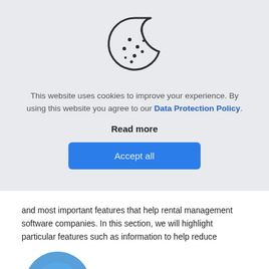[Figure (illustration): Cookie icon — a round cookie with a bite taken out of the top-right, with small dots (chocolate chips) scattered on it, drawn in dark outline style.]
This website uses cookies to improve your experience. By using this website you agree to our Data Protection Policy.
Read more
Accept all
and most important features that help rental management software companies. In this section, we will highlight particular features such as information to help reduce fraudulent hires or support for generating carnets, to help rental management company employees to manage their business effectively.
[Figure (illustration): Partial view of a circular icon or logo at the bottom of the page, only the top portion visible, in blue tones.]